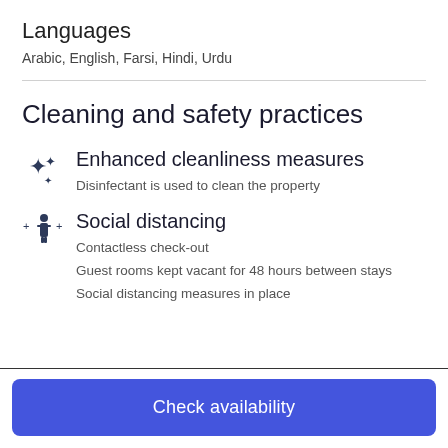Languages
Arabic, English, Farsi, Hindi, Urdu
Cleaning and safety practices
Enhanced cleanliness measures
Disinfectant is used to clean the property
Social distancing
Contactless check-out
Guest rooms kept vacant for 48 hours between stays
Social distancing measures in place
Check availability